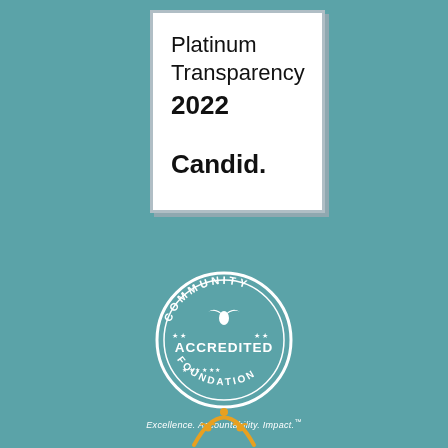[Figure (logo): Platinum Transparency 2022 Candid. badge — white card with grey border showing text 'Platinum Transparency 2022' and 'Candid.']
[Figure (logo): Community Accredited Foundation circular seal/stamp in white on teal background]
Excellence. Accountability. Impact.™
[Figure (logo): Partial yellow/gold community foundation logo at bottom center]